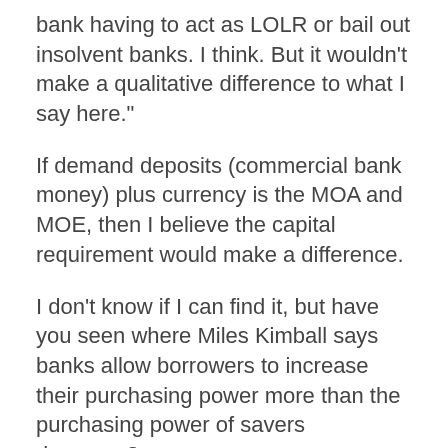bank having to act as LOLR or bail out insolvent banks. I think. But it wouldn't make a qualitative difference to what I say here."
If demand deposits (commercial bank money) plus currency is the MOA and MOE, then I believe the capital requirement would make a difference.
I don't know if I can find it, but have you seen where Miles Kimball says banks allow borrowers to increase their purchasing power more than the purchasing power of savers decrease?